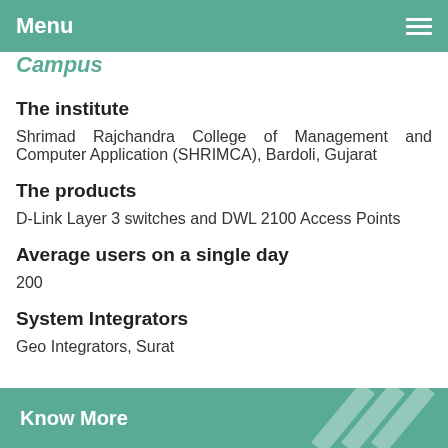Menu
Campus
The institute
Shrimad Rajchandra College of Management and Computer Application (SHRIMCA), Bardoli, Gujarat
The products
D-Link Layer 3 switches and DWL 2100 Access Points
Average users on a single day
200
System Integrators
Geo Integrators, Surat
Know More